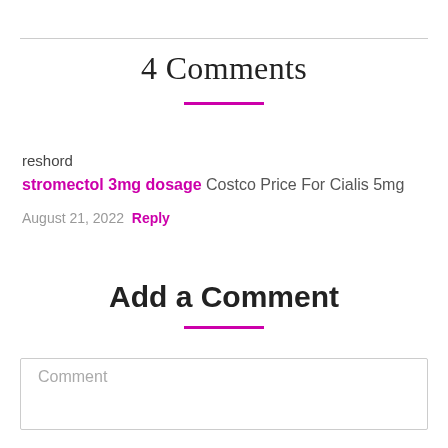4 Comments
reshord
stromectol 3mg dosage Costco Price For Cialis 5mg
August 21, 2022 Reply
Add a Comment
Comment